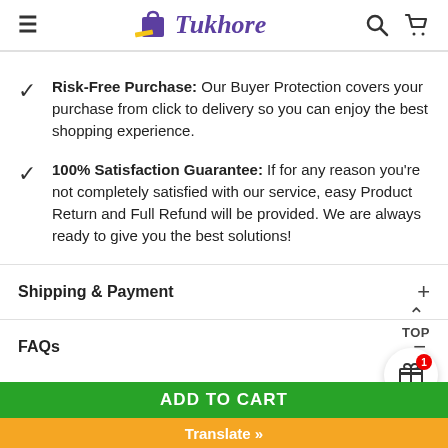Tukhore
Risk-Free Purchase: Our Buyer Protection covers your purchase from click to delivery so you can enjoy the best shopping experience.
100% Satisfaction Guarantee: If for any reason you're not completely satisfied with our service, easy Product Return and Full Refund will be provided. We are always ready to give you the best solutions!
Shipping & Payment
FAQs
ADD TO CART
Translate »